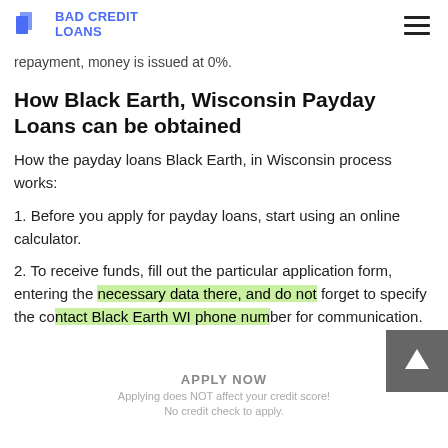BAD CREDIT LOANS
repayment, money is issued at 0%.
How Black Earth, Wisconsin Payday Loans can be obtained
How the payday loans Black Earth, in Wisconsin process works:
1. Before you apply for payday loans, start using an online calculator.
2. To receive funds, fill out the particular application form, entering the necessary data there, and do not forget to specify the contact Black Earth WI phone number for communication.
Applying does NOT affect your credit score! No credit check to apply.